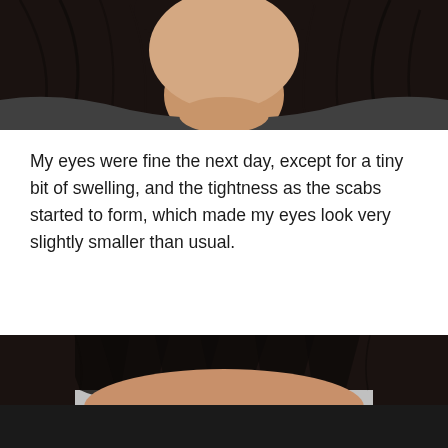[Figure (photo): Photo of a person with long dark hair, showing neck and lower face area, cropped view from chin to mid-torso]
My eyes were fine the next day, except for a tiny bit of swelling, and the tightness as the scabs started to form, which made my eyes look very slightly smaller than usual.
[Figure (photo): Photo of a person with dark hair and bangs, showing forehead and upper face, partially darkened at bottom]